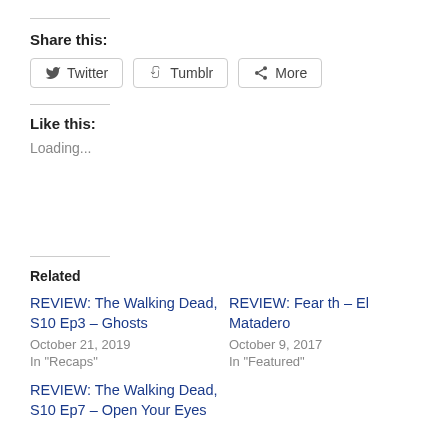Share this:
Twitter
Tumblr
More
Like this:
Loading...
Related
REVIEW: The Walking Dead, S10 Ep3 – Ghosts
October 21, 2019
In "Recaps"
REVIEW: Fear th – El Matadero
October 9, 2017
In "Featured"
REVIEW: The Walking Dead, S10 Ep7 – Open Your Eyes